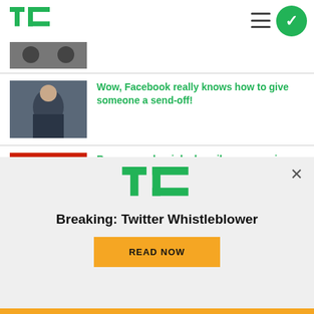TechCrunch
[Figure (screenshot): Partial article thumbnail at top]
Wow, Facebook really knows how to give someone a send-off!
Roe reversal weighs heavily on emerging tech cities in red states
[Figure (screenshot): TechCrunch ad overlay: Breaking: Twitter Whistleblower with READ NOW button]